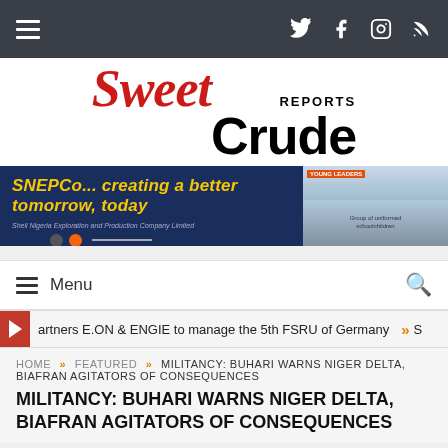Navigation bar with hamburger menu and social icons (Twitter, Facebook, Instagram, RSS)
[Figure (logo): SweetCrude Reports logo — 'Sweet' in red italic serif, 'Crude' in black bold sans-serif, 'REPORTS' in small caps above]
[Figure (infographic): SNEPCo advertisement banner: 'SNEPCo... creating a better tomorrow, today' in yellow bold italic on dark blue background, with Shell Nigeria Exploration and Production Company Limited text, logo dots, and photo of school children in uniforms]
Menu
artners E.ON & ENGIE to manage the 5th FSRU of Germany
HOME » FEATURED » MILITANCY: BUHARI WARNS NIGER DELTA, BIAFRAN AGITATORS OF CONSEQUENCES